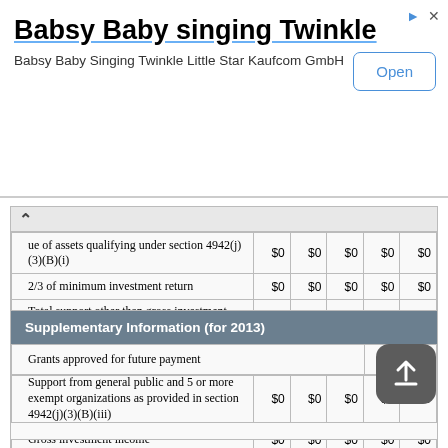[Figure (other): Advertisement banner: 'Babsy Baby singing Twinkle' app ad with Open button]
| Description | Col1 | Col2 | Col3 | Col4 | Col5 |
| --- | --- | --- | --- | --- | --- |
| ue of assets qualifying under section 4942(j)(3)(B)(i) | $0 | $0 | $0 | $0 | $0 |
| 2/3 of minimum investment return | $0 | $0 | $0 | $0 | $0 |
| Total support other than gross investment income (interest, dividends, rents, payments on securities loans (section 512(a)(5)), or royalties) | $0 | $0 | $0 | $0 | $0 |
| Support from general public and 5 or more exempt organizations as provided in section 4942(j)(3)(B)(iii) | $0 | $0 | $0 | $0 | $0 |
| Gross investment income | $0 | $0 | $0 | $0 | $0 |
Supplementary Information (for 2013)
| Description | Value |
| --- | --- |
| Grants approved for future payment | $0 |